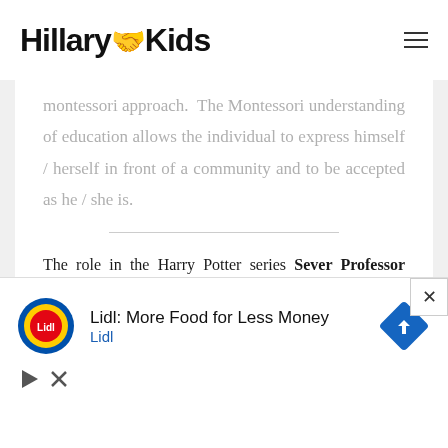Hillary Kids
montessori approach. The Montessori understanding of education allows the individual to express himself / herself in front of a community and to be accepted as he / she is.
The role in the Harry Potter series Sever Professor Severus Snape " character, Alan Rickmen 's reputation spread even more, original, successful and confident
[Figure (other): Lidl advertisement banner: Lidl logo, text 'Lidl: More Food for Less Money', navigation icon, play and close controls]